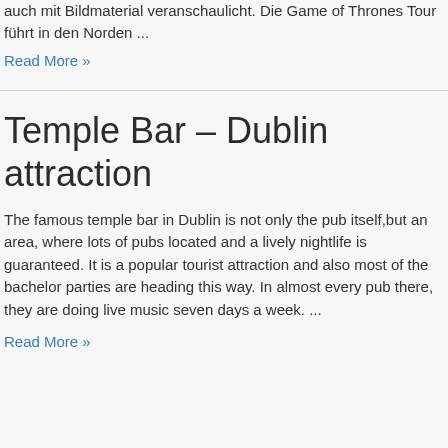auch mit Bildmaterial veranschaulicht. Die Game of Thrones Tour führt in den Norden ...
Read More »
Temple Bar – Dublin attraction
The famous temple bar in Dublin is not only the pub itself,but an area, where lots of pubs located and a lively nightlife is guaranteed. It is a popular tourist attraction and also most of the bachelor parties are heading this way. In almost every pub there, they are doing live music seven days a week. ...
Read More »